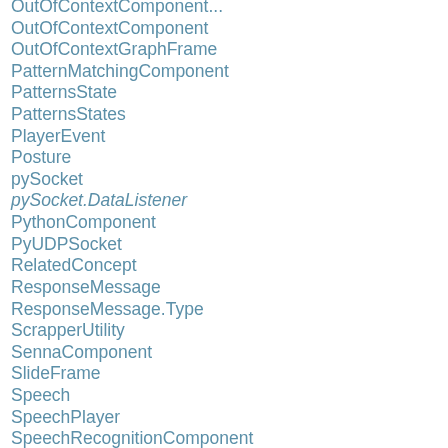OutOfContextComponent
OutOfContextGraphFrame
PatternMatchingComponent
PatternsState
PatternsStates
PlayerEvent
Posture
pySocket
pySocket.DataListener
PythonComponent
PyUDPSocket
RelatedConcept
ResponseMessage
ResponseMessage.Type
ScrapperUtility
SennaComponent
SlideFrame
Speech
SpeechPlayer
SpeechRecognitionComponent
SpeechRecognizerSocket
SpeechRecognizerSocket.DataListener
SpeechUDPSocket
StateChangeData
StoryGraphComponent
StoryGraphFrame
StoryState
StoryStates